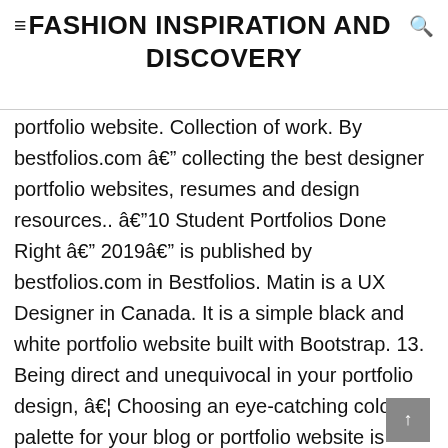≡FASHION INSPIRATION AND DISCOVERY
portfolio website. Collection of work. By bestfolios.com â collecting the best designer portfolio websites, resumes and design resources.. â10 Student Portfolios Done Right â 2019â is published by bestfolios.com in Bestfolios. Matin is a UX Designer in Canada. It is a simple black and white portfolio website built with Bootstrap. 13. Being direct and unequivocal in your portfolio design, â¦ Choosing an eye-catching color palette for your blog or portfolio website is crucial to landing clients. This is the tic...